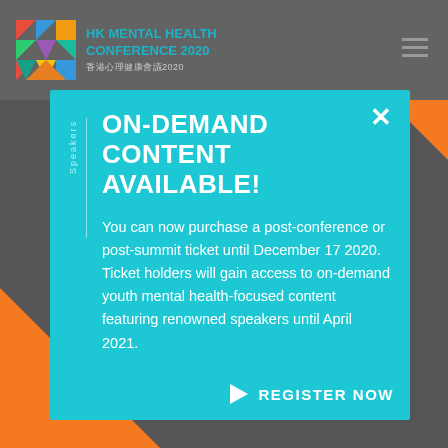HK MENTAL HEALTH CONFERENCE 2020 香港心理健康會議2020
ON-DEMAND CONTENT AVAILABLE!
You can now purchase a post-conference or post-summit ticket until December 17 2020. Ticket holders will gain access to on-demand youth mental health-focused content featuring renowned speakers until April 2021.
REGISTER NOW